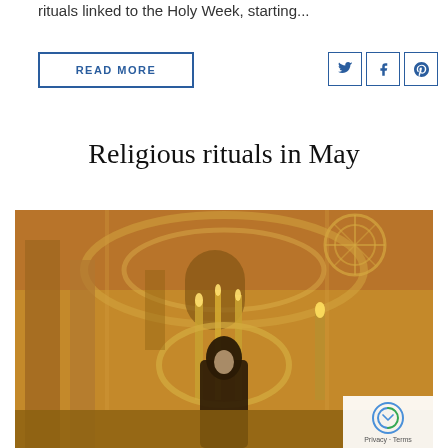rituals linked to the Holy Week, starting...
READ MORE
Religious rituals in May
[Figure (photo): Interior of an ornate church with golden baroque decoration, candlelight, arched ceilings, and a religious statue of a robed figure wearing a dark cloak surrounded by floral decorations]